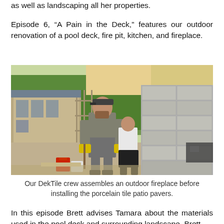as well as landscaping all her properties.
Episode 6, “A Pain in the Deck,” features our outdoor renovation of a pool deck, fire pit, kitchen, and fireplace.
[Figure (photo): Construction workers on a pool deck area assembling an outdoor fireplace made of concrete blocks. One worker in the foreground wears yellow gloves and grey clothes, while two workers in the background work on the block structure. A house under construction is visible on the left with scaffolding, and trees are in the background.]
Our DekTile crew assembles an outdoor fireplace before installing the porcelain tile patio pavers.
In this episode Brett advises Tamara about the materials used in the pool deck and surrounding landscape. Brett